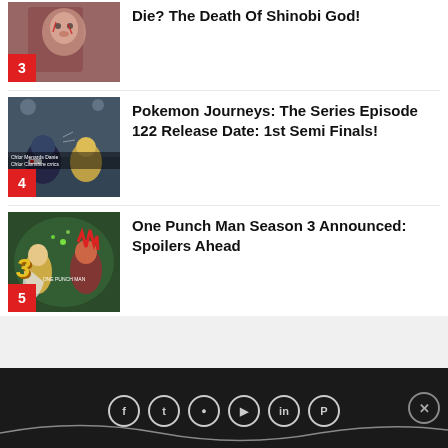Die? The Death Of Shinobi God!
Pokemon Journeys: The Series Episode 122 Release Date: 1st Semi Finals!
One Punch Man Season 3 Announced: Spoilers Ahead
Social media icons: Facebook, Twitter, Instagram, YouTube, LinkedIn, Pinterest